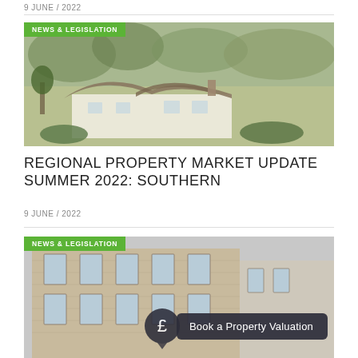9 JUNE / 2022
[Figure (photo): Aerial view of a thatched-roof cottage surrounded by green countryside and trees, with NEWS & LEGISLATION badge]
REGIONAL PROPERTY MARKET UPDATE SUMMER 2022: SOUTHERN
9 JUNE / 2022
[Figure (photo): Victorian brick building facade with NEWS & LEGISLATION badge and a Book a Property Valuation overlay button with pound sign]